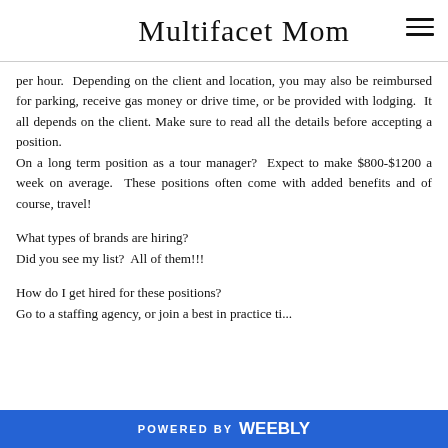Multifacet Mom
per hour.  Depending on the client and location, you may also be reimbursed for parking, receive gas money or drive time, or be provided with lodging.  It all depends on the client. Make sure to read all the details before accepting a position.
On a long term position as a tour manager?  Expect to make $800-$1200 a week on average.  These positions often come with added benefits and of course, travel!
What types of brands are hiring?
Did you see my list?  All of them!!!
How do I get hired for these positions?
POWERED BY weebly